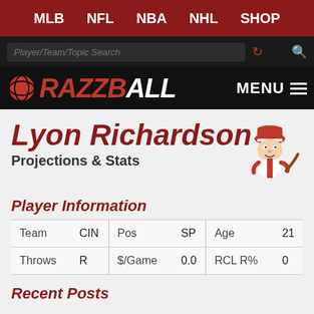MLB  NFL  NBA  NHL  SHOP
[Figure (screenshot): Search bar with placeholder text Player/Team/Topic Search]
[Figure (logo): Razzball logo with baseball icon and MENU button]
Lyon Richardson
Projections & Stats
[Figure (illustration): Cincinnati Reds mascot Mr. Red baseball character illustration]
Player Information
| Team | CIN | Pos | SP | Age | 21 |
| Throws | R | $/Game | 0.0 | RCL R% | 0 |
Recent Posts